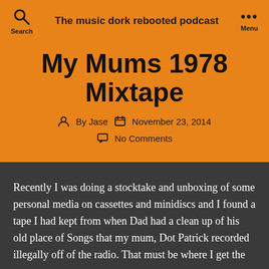The music dork rebooted podcast
My Mums 1978 Mixtape
By Jase   November 23, 2014
No Comments
Recently I was doing a stocktake and unboxing of some personal media on cassettes and minidiscs and I found a tape I had kept from when Dad had a clean up of his old place of Songs that my mum, Dot Patrick recorded illegally off of the radio. That must be where I get the